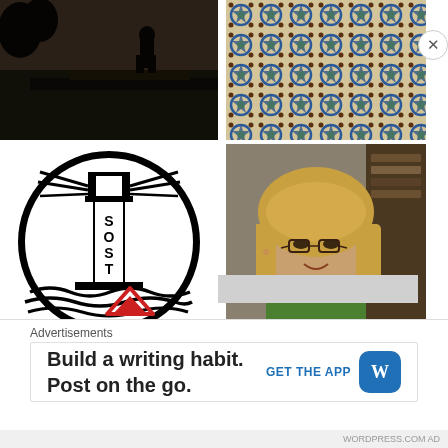[Figure (photo): Dark silhouette of a person standing on a rooftop or elevated structure, trees visible in background, low-light outdoor photo]
[Figure (photo): Colorful geometric Moroccan tile pattern with blue, green, brown, and beige interlocking star/flower shapes]
[Figure (logo): Black and white circular lighthouse logo with letters S, O, S, T vertically on the lighthouse tower and wave designs at the bottom]
[Figure (photo): Photo of a middle-aged woman with shoulder-length blonde hair and glasses, wearing a green top, smiling, bookshelves in background]
Advertisements
Build a writing habit. Post on the go.
GET THE APP